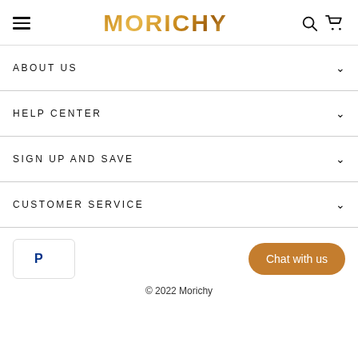MORICHY
ABOUT US
HELP CENTER
SIGN UP AND SAVE
CUSTOMER SERVICE
[Figure (logo): PayPal payment badge]
Chat with us
© 2022 Morichy